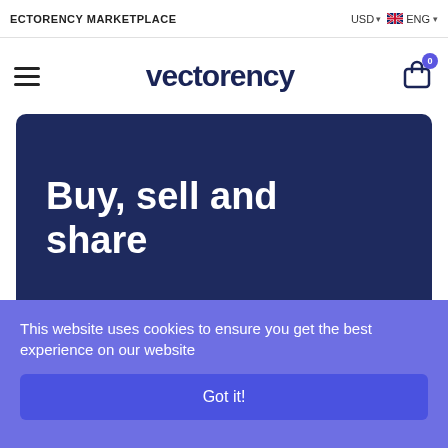ECTORENCY MARKETPLACE   USD   ENG
[Figure (logo): Vectorency logo — lowercase rounded sans-serif wordmark 'vectorency' in dark navy]
Buy, sell and share
This website uses cookies to ensure you get the best experience on our website
Got it!